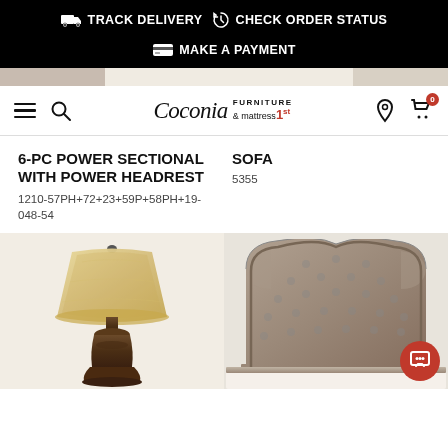TRACK DELIVERY  CHECK ORDER STATUS  MAKE A PAYMENT
[Figure (logo): Coconia Furniture & Mattress 1st logo with navigation icons (hamburger menu, search, location pin, cart)]
6-PC POWER SECTIONAL WITH POWER HEADREST
1210-57PH+72+23+59P+58PH+19-048-54
SOFA
5355
[Figure (photo): Table lamp with ornate beige/gold shade and dark bronze base]
[Figure (photo): Upholstered tufted headboard bed in grey/taupe finish]